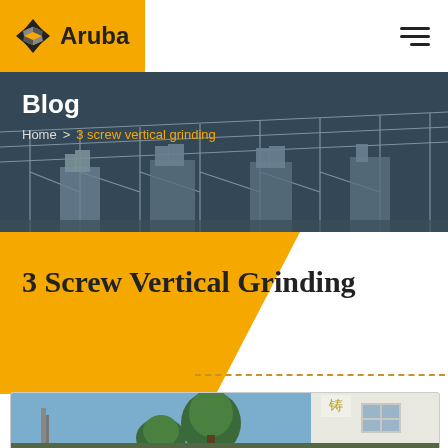Aruba
Blog
Home > 3 screw vertical grinding
3 Screw Vertical Grinding
[Figure (photo): Industrial facility with steel frame structure and machinery, dark blue toned]
[Figure (photo): Exterior of a building with trees and blue sky, Chinese signage visible]